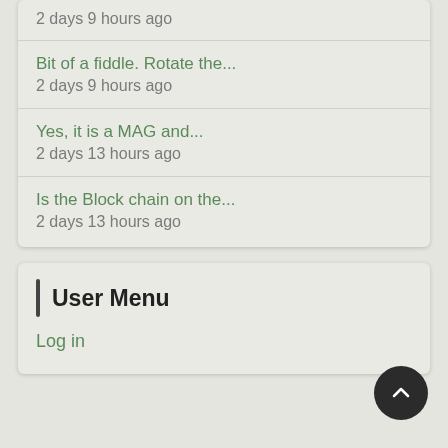2 days 9 hours ago
Bit of a fiddle. Rotate the...
2 days 9 hours ago
Yes, it is a MAG and...
2 days 13 hours ago
Is the Block chain on the...
2 days 13 hours ago
User Menu
Log in